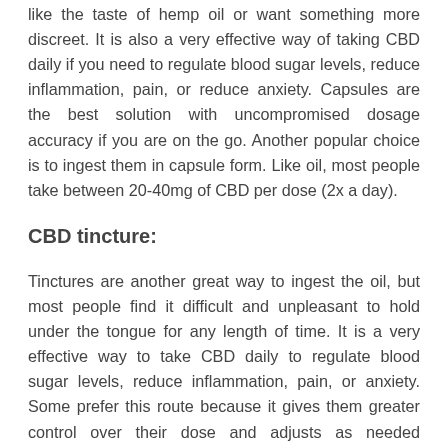like the taste of hemp oil or want something more discreet. It is also a very effective way of taking CBD daily if you need to regulate blood sugar levels, reduce inflammation, pain, or reduce anxiety. Capsules are the best solution with uncompromised dosage accuracy if you are on the go. Another popular choice is to ingest them in capsule form. Like oil, most people take between 20-40mg of CBD per dose (2x a day).
CBD tincture:
Tinctures are another great way to ingest the oil, but most people find it difficult and unpleasant to hold under the tongue for any length of time. It is a very effective way to take CBD daily to regulate blood sugar levels, reduce inflammation, pain, or anxiety. Some prefer this route because it gives them greater control over their dose and adjusts as needed throughout the day. As with anything, start at a low dosage and increase as needed. Like CBD oil but typically made with other chemicals like MCT (fractionated coconut oil). To make a CBD tincture, you